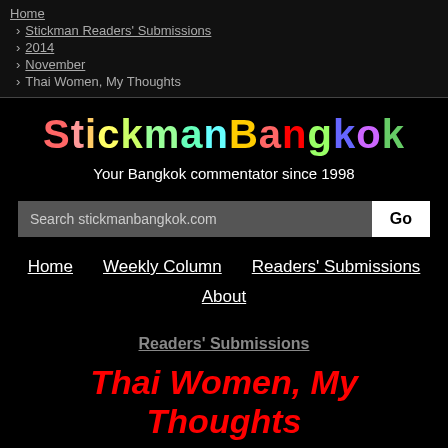Home
› Stickman Readers' Submissions
› 2014
› November
› Thai Women, My Thoughts
StickmanBangkok
Your Bangkok commentator since 1998
Search stickmanbangkok.com
Home   Weekly Column   Readers' Submissions
About
Readers' Submissions
Thai Women, My Thoughts